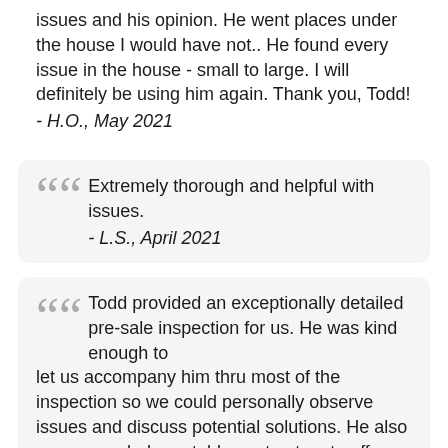issues and his opinion. He went places under the house I would have not.. He found every issue in the house - small to large. I will definitely be using him again. Thank you, Todd!
- H.O., May 2021
Extremely thorough and helpful with issues. - L.S., April 2021
Todd provided an exceptionally detailed pre-sale inspection for us. He was kind enough to let us accompany him thru most of the inspection so we could personally observe issues and discuss potential solutions. He also recommended reputable contractors to offer further expert assessment and to remedy anything outstanding. Of particular note, I never perceived Todd as being rushed. He took extra time going over the findings and he ensured